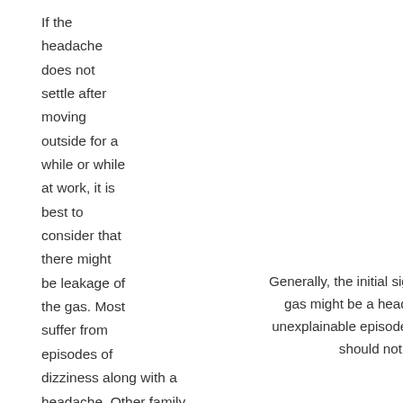If the headache does not settle after moving outside for a while or while at work, it is best to consider that there might be leakage of the gas. Most suffer from episodes of dizziness along with a headache. Other family members should be asked if they are suffering from episodes of dizziness and headache as well.
Generally, the initial sign of leakage of natural gas might be a headache. If a sudden or unexplainable episode of headache arises, it should not be ignored.